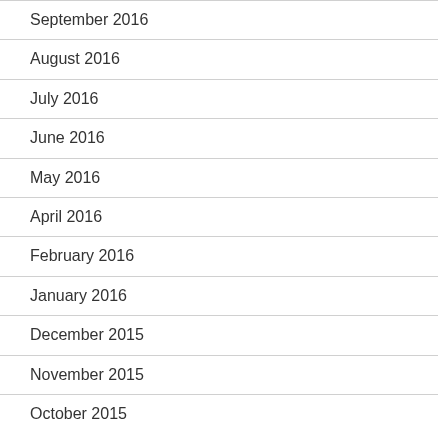September 2016
August 2016
July 2016
June 2016
May 2016
April 2016
February 2016
January 2016
December 2015
November 2015
October 2015